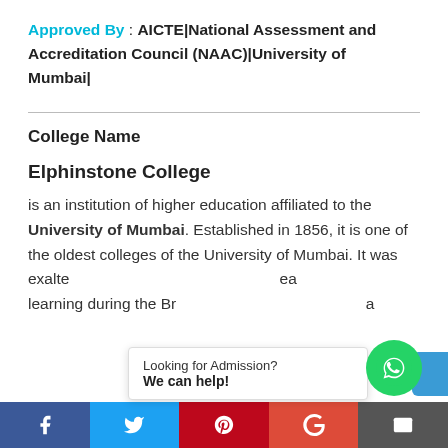Approved By : AICTE|National Assessment and Accreditation Council (NAAC)|University of Mumbai|
College Name
Elphinstone College
is an institution of higher education affiliated to the University of Mumbai. Established in 1856, it is one of the oldest colleges of the University of Mumbai. It was exalted as a great seat of learning during the Br... a...
Looking for Admission?
We can help!
Facebook | Twitter | Pinterest | Google+ | Email